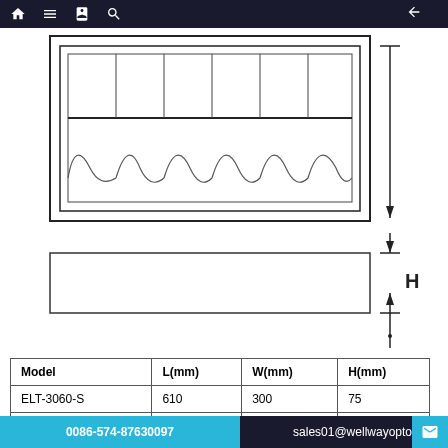[Figure (engineering-diagram): Technical drawing of a linear light fixture showing top view with internal fins/reflectors and a cross-section view below. Dimension arrows indicate H (height) measurement on the right side. The upper part shows a rectangular housing with vertical dividers and wave-shaped elements. Below is a simpler rectangular profile. Dimension arrows with H label shown on right side.]
| Model | L(mm) | W(mm) | H(mm) |
| --- | --- | --- | --- |
| ELT-3060-S | 610 | 300 | 75 |
| ELT-6060-S | 610 | 600 | 75 |
| ELT-30120-S | 1220 | 300 | 75 |
0086-574-87630097   sales01@wellwayopto